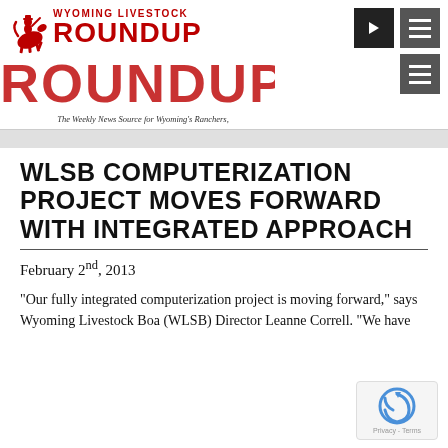[Figure (logo): Wyoming Livestock Roundup logo with cowboy on bucking horse icon, red text reading 'Wyoming Livestock Roundup', and navigation icons (arrow and hamburger menu)]
The Weekly News Source for Wyoming's Ranchers, Farmers and AgriBusiness Community
WLSB COMPUTERIZATION PROJECT MOVES FORWARD WITH INTEGRATED APPROACH
February 2nd, 2013
“Our fully integrated computerization project is moving forward,” says Wyoming Livestock Boa (WLSB) Director Leanne Correll. “We have